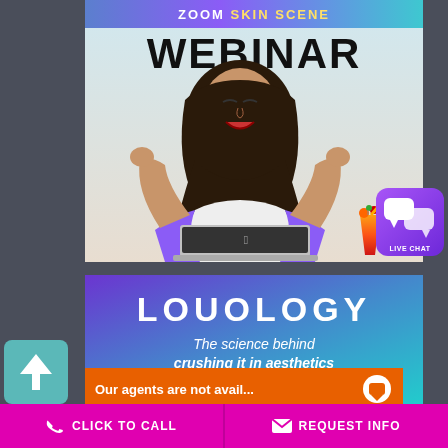[Figure (infographic): Zoom Skin Scene Webinar promotional image with woman celebrating at laptop with cocktail drink]
WEBINAR
[Figure (logo): LIVE CHAT purple button with chat bubble icons]
[Figure (infographic): LOUOLOGY branded banner with gradient blue-purple background, text: The science behind crushing it in aesthetics in be...]
Our agents are not avail...
CLICK TO CALL
REQUEST INFO